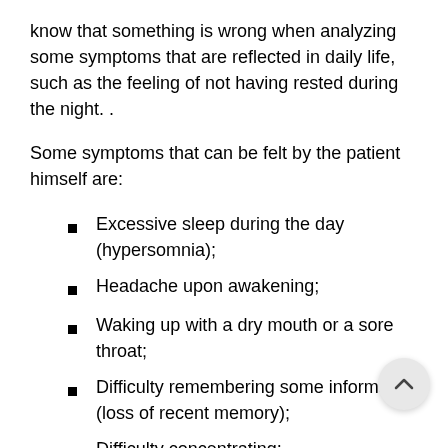know that something is wrong when analyzing some symptoms that are reflected in daily life, such as the feeling of not having rested during the night. .
Some symptoms that can be felt by the patient himself are:
Excessive sleep during the day (hypersomnia);
Headache upon awakening;
Waking up with a dry mouth or a sore throat;
Difficulty remembering some information (loss of recent memory);
Difficulty concentrating;
Irritability;
Waking up abruptly at night with shortness of breath (more common in cases of central apnea);
Insomnia;
Loss of sexual interest;